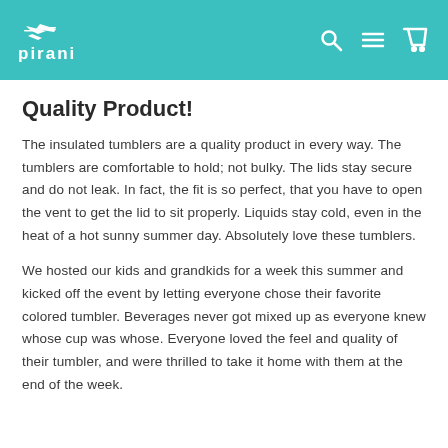pirani
Quality Product!
The insulated tumblers are a quality product in every way. The tumblers are comfortable to hold; not bulky. The lids stay secure and do not leak. In fact, the fit is so perfect, that you have to open the vent to get the lid to sit properly. Liquids stay cold, even in the heat of a hot sunny summer day. Absolutely love these tumblers.
We hosted our kids and grandkids for a week this summer and kicked off the event by letting everyone chose their favorite colored tumbler. Beverages never got mixed up as everyone knew whose cup was whose. Everyone loved the feel and quality of their tumbler, and were thrilled to take it home with them at the end of the week.